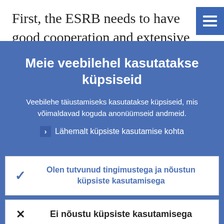First, the ESRB needs to have good cooperation and extensive information exchange with the microprudential European Supervisory Authorities.
Meie veebilehel kasutatakse küpsiseid
Veebilehe täiustamiseks kasutatakse küpsiseid, mis võimaldavad koguda anonüümseid andmeid.
Lähemalt küpsiste kasutamise kohta
Olen tutvunud tingimustega ja nõustun küpsiste kasutamisega
Ei nõustu küpsiste kasutamisega